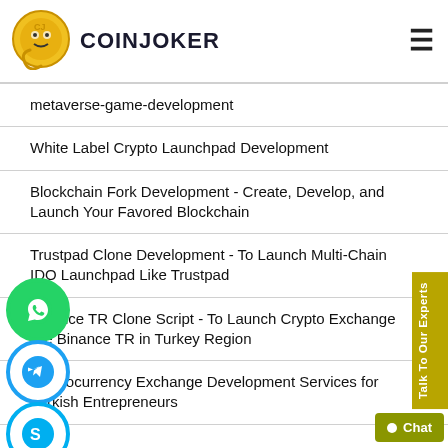COINJOKER
metaverse-game-development
White Label Crypto Launchpad Development
Blockchain Fork Development - Create, Develop, and Launch Your Favored Blockchain
Trustpad Clone Development - To Launch Multi-Chain IDO Launchpad Like Trustpad
Binance TR Clone Script - To Launch Crypto Exchange like Binance TR in Turkey Region
Cryptocurrency Exchange Development Services for Turkish Entrepreneurs
[Figure (logo): CoinJoker logo - gold coin with 'CJ' monogram]
[Figure (illustration): WhatsApp, Telegram, and Skype social icon circles on left side]
Talk To Our Experts
Chat